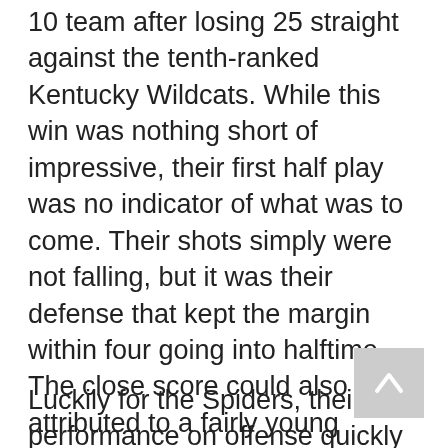10 team after losing 25 straight against the tenth-ranked Kentucky Wildcats. While this win was nothing short of impressive, their first half play was no indicator of what was to come. Their shots simply were not falling, but it was their defense that kept the margin within four going into halftime. The close score could also be attributed to a fairly young Wildcats roster, with four freshman starting on Sunday, but regardless of age, any team coached by John Calipari is not to be taken lightly.
Luckily for the Spiders, their performance on offense quickly caught up, as forcing turnovers on Kentucky led to 9-0 and 7-0 runs,